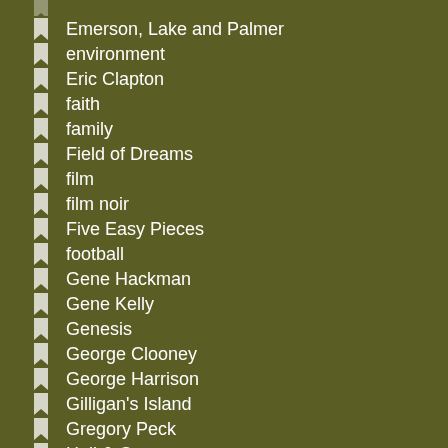Emerson, Lake and Palmer
environment
Eric Clapton
faith
family
Field of Dreams
film
film noir
Five Easy Pieces
football
Gene Hackman
Gene Kelly
Genesis
George Clooney
George Harrison
Gilligan's Island
Gregory Peck
Hall & Oates
Hallmark